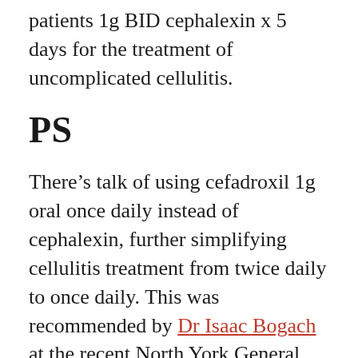patients 1g BID cephalexin x 5 days for the treatment of uncomplicated cellulitis.
PS
There’s talk of using cefadroxil 1g oral once daily instead of cephalexin, further simplifying cellulitis treatment from twice daily to once daily. This was recommended by Dr Isaac Bogach at the recent North York General Emergency Medicine Update conference. Cefadroxil is a longer lasting derivative of cephalexin and is similarly a first generation cephalosporin and has identical antimicrobial coverage (Lexicomp search).